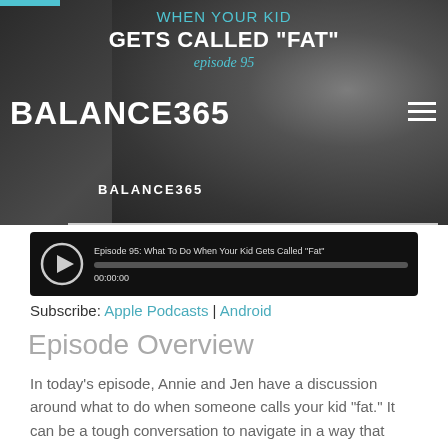[Figure (screenshot): Hero banner image for Balance365 podcast with dark background, showing title 'WHEN YOUR KID GETS CALLED "FAT"' in white bold text with cyan 'episode 95' subtitle, Balance365 branding, and a blurred child photo]
[Figure (screenshot): Audio player widget with play button, episode title 'Episode 95: What To Do When Your Kid Gets Called "Fat"', progress bar, and timestamp 00:00:00]
Subscribe: Apple Podcasts | Android
Episode Overview
In today's episode, Annie and Jen have a discussion around what to do when someone calls your kid "fat." It can be a tough conversation to navigate in a way that supports your child, builds resilience, and doesn't